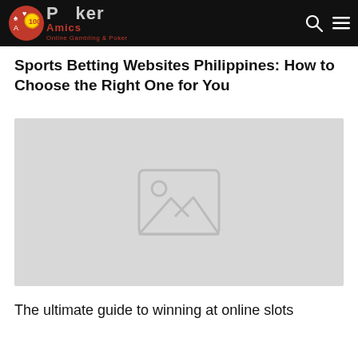Poker Amics – Online Gambling & Poker
Sports Betting Websites Philippines: How to Choose the Right One for You
[Figure (photo): Placeholder image with a landscape/mountain icon on a light gray background]
The ultimate guide to winning at online slots